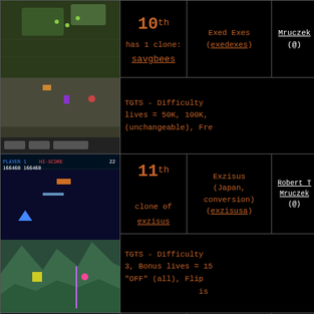[Figure (screenshot): Top-down shooter game screenshot with hexagonal tiles and sprites]
10th
has 1 clone:
savgbees
Exed Exes (exedexes)
Mruczek (@)
TGTS - Difficulty lives = 50K, 100K, (unchangeable), Fre
[Figure (screenshot): Side-scrolling shooter game screenshot - Exzisus]
11th
clone of
exzisus
Exzisus (Japan, conversion) (exzisusa)
Robert T Mruczek (@)
TGTS - Difficulty 3, Bonus lives = 150 "OFF" (all), Flip is
[Figure (screenshot): Vertical shooter game screenshot - Fantasy]
2nd
clone of
fantasyu
Fantasy (Germany, set 1) (fantasyg)
Robert T Mruczek (@)
TGTS - 3 lives to s extra
[Figure (screenshot): Frog game screenshot - top portion visible]
4th
Frogs (frogs)
Robert T Mruczek